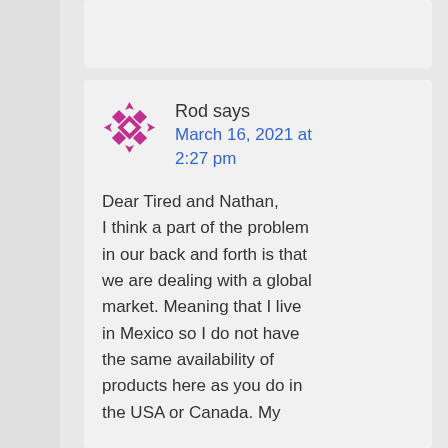[Figure (other): Top partial comment card (cropped, content not visible)]
Rod says
March 16, 2021 at 2:27 pm

Dear Tired and Nathan, I think a part of the problem in our back and forth is that we are dealing with a global market. Meaning that I live in Mexico so I do not have the same availability of products here as you do in the USA or Canada. My